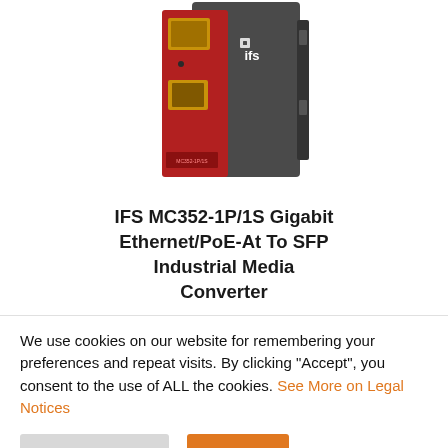[Figure (photo): IFS MC352-1P/1S industrial media converter device photo showing a red and dark gray box with SFP slot, Ethernet port, and IFS logo on the front panel.]
IFS MC352-1P/1S Gigabit Ethernet/PoE-At To SFP Industrial Media Converter
We use cookies on our website for remembering your preferences and repeat visits. By clicking “Accept”, you consent to the use of ALL the cookies. See More on Legal Notices
Cookie Settings | Accept